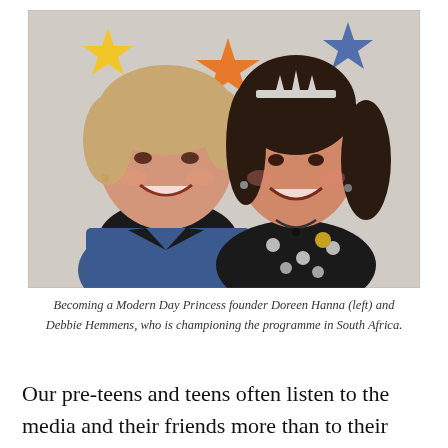[Figure (photo): Two smiling women posing together in front of a wall decorated with colorful star cutouts. The woman on the left has short blonde hair and wears a denim jacket. The woman on the right has long dark hair, wears a tiara/crown, a black polka-dot top, and a necklace.]
Becoming a Modern Day Princess founder Doreen Hanna (left) and Debbie Hemmens, who is championing the programme in South Africa.
Our pre-teens and teens often listen to the media and their friends more than to their parents at this stage